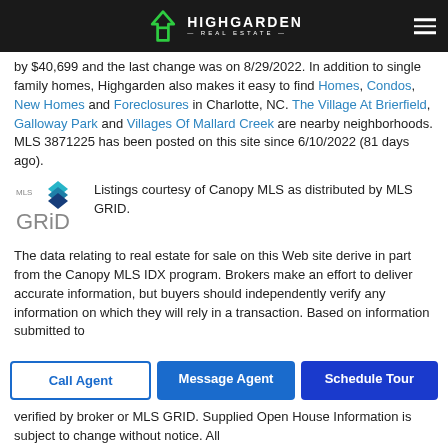HIGHGARDEN REAL ESTATE
by $40,699 and the last change was on 8/29/2022. In addition to single family homes, Highgarden also makes it easy to find Homes, Condos, New Homes and Foreclosures in Charlotte, NC. The Village At Brierfield, Galloway Park and Villages Of Mallard Creek are nearby neighborhoods. MLS 3871225 has been posted on this site since 6/10/2022 (81 days ago).
[Figure (logo): MLS GRID logo with teal/blue layered diamond icon and grey GRID text]
Listings courtesy of Canopy MLS as distributed by MLS GRID.
The data relating to real estate for sale on this Web site derive in part from the Canopy MLS IDX program. Brokers make an effort to deliver accurate information, but buyers should independently verify any information on which they will rely in a transaction. Based on information submitted to
verified by broker or MLS GRID. Supplied Open House Information is subject to change without notice. All